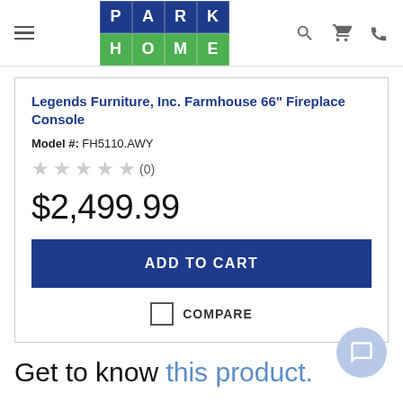[Figure (logo): Park Home logo with blue top row spelling PARK and green bottom row spelling HOME]
Legends Furniture, Inc. Farmhouse 66" Fireplace Console
Model #: FH5110.AWY
★★★★★ (0)
$2,499.99
ADD TO CART
COMPARE
Get to know this product.